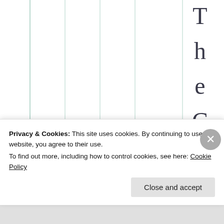[Figure (other): Table grid with vertical column lines visible, showing a partially rendered table in the background]
TheCouchCom
Privacy & Cookies: This site uses cookies. By continuing to use this website, you agree to their use.
To find out more, including how to control cookies, see here: Cookie Policy
Close and accept